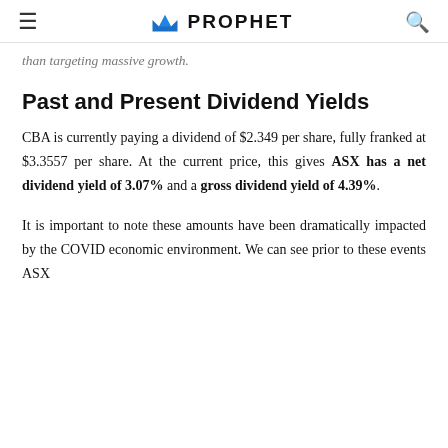≡  PROPHET  🔍
than targeting massive growth.
Past and Present Dividend Yields
CBA is currently paying a dividend of $2.349 per share, fully franked at $3.3557 per share. At the current price, this gives ASX has a net dividend yield of 3.07% and a gross dividend yield of 4.39%.
It is important to note these amounts have been dramatically impacted by the COVID economic environment. We can see prior to these events ASX